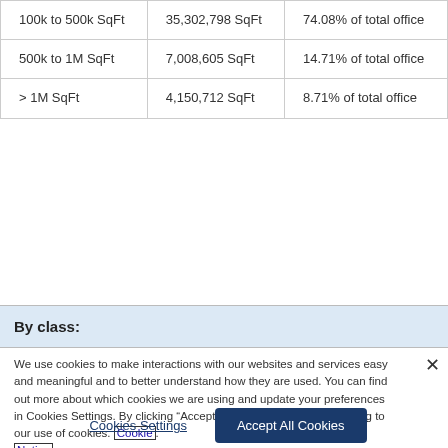| Size Range | Area | Percentage |
| --- | --- | --- |
| 100k to 500k SqFt | 35,302,798 SqFt | 74.08% of total office |
| 500k to 1M SqFt | 7,008,605 SqFt | 14.71% of total office |
| > 1M SqFt | 4,150,712 SqFt | 8.71% of total office |
By class:
We use cookies to make interactions with our websites and services easy and meaningful and to better understand how they are used. You can find out more about which cookies we are using and update your preferences in Cookies Settings. By clicking “Accept All Cookies,” you are agreeing to our use of cookies. Cookie Notice.